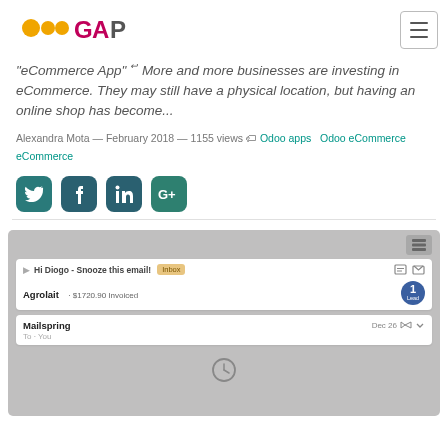[Figure (logo): OdooGAP logo with orange Odoo symbol and magenta/gray GAP text]
"eCommerce App" — More and more businesses are investing in eCommerce. They may still have a physical location, but having an online shop has become...
Alexandra Mota — February 2018 — 1155 views  Odoo apps  Odoo eCommerce  eCommerce
[Figure (infographic): Social media share icons: Twitter, Facebook, LinkedIn, Google+]
[Figure (screenshot): Screenshot of email/CRM interface showing: Hi Diogo - Snooze this email! (Inbox), Agrolait $1720.90 Invoiced with Lead badge, Mailspring email from Dec 26 To: You, with clock icon]